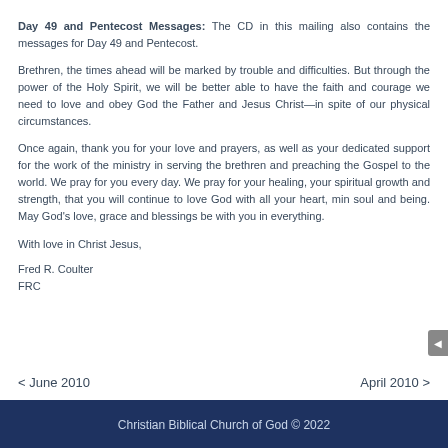Day 49 and Pentecost Messages: The CD in this mailing also contains the messages for Day 49 and Pentecost.
Brethren, the times ahead will be marked by trouble and difficulties. But through the power of the Holy Spirit, we will be better able to have the faith and courage we need to love and obey God the Father and Jesus Christ—in spite of our physical circumstances.
Once again, thank you for your love and prayers, as well as your dedicated support for the work of the ministry in serving the brethren and preaching the Gospel to the world. We pray for you every day. We pray for your healing, your spiritual growth and strength, that you will continue to love God with all your heart, mind, soul and being. May God's love, grace and blessings be with you in everything.
With love in Christ Jesus,
Fred R. Coulter
FRC
< June 2010
April 2010 >
Christian Biblical Church of God © 2022